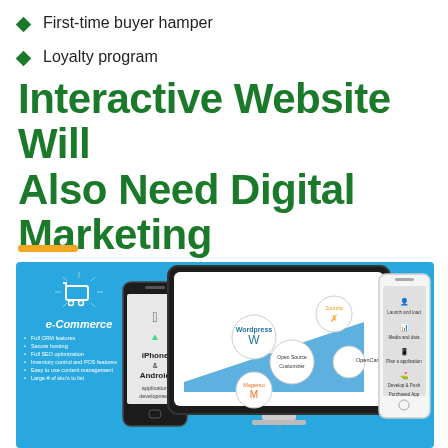First-time buyer hamper
Loyalty program
Interactive Website Will Also Need Digital Marketing
[Figure (infographic): Digital marketing infographic on blue background showing e-Commerce features list, iPhone & Android app development phone mockup, central monitor with WordPress, Joomla, Open Source Customizer, OpenCart, Magento logos and an arrow chart, and a right-side phone showing app features.]